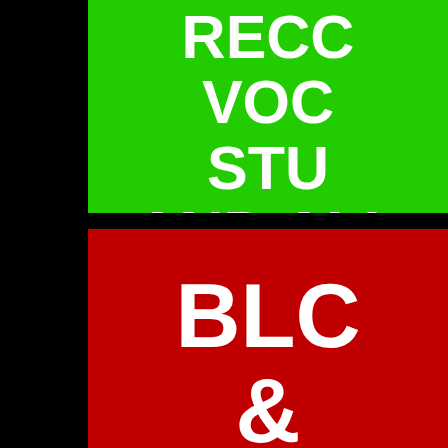[Figure (infographic): Two-panel graphic cropped at right edge. Top panel: bright green background with white bold text reading 'RECO... / VOC... / STU... / AND ALL... / ABOUT EVE... / KRISTALLPRO...' — text is cropped at right. Bottom panel: dark red background with white bold text reading 'BLO... / & / AUD...' — also cropped. A black vertical bar on the left and a black horizontal divider between panels.]